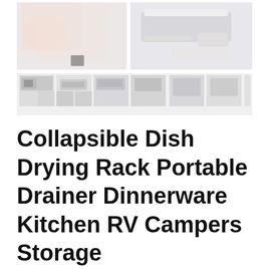[Figure (photo): Product photo collage showing a collapsible dish drying rack from multiple angles: main large images on top row showing hands assembling the rack and the rack with dinnerware, with a strip of smaller thumbnail images below showing various product views and configurations.]
Collapsible Dish Drying Rack Portable Drainer Dinnerware Kitchen RV Campers Storage